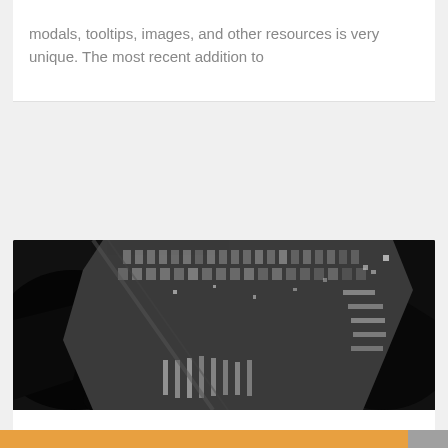modals, tooltips, images, and other resources is very unique. The most recent addition to
[Figure (photo): Aerial black and white satellite or aerial photograph of a dense urban waterfront area, showing city blocks, piers, and water bodies from above.]
Complimentary Postcode & POI Search Engine Website Plugin
A few months ago we introduced the reasoning behind the inclusion of a